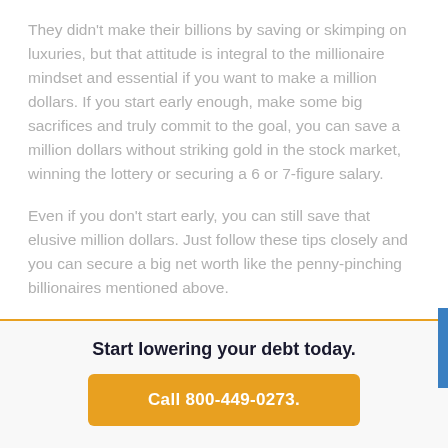They didn't make their billions by saving or skimping on luxuries, but that attitude is integral to the millionaire mindset and essential if you want to make a million dollars. If you start early enough, make some big sacrifices and truly commit to the goal, you can save a million dollars without striking gold in the stock market, winning the lottery or securing a 6 or 7-figure salary.
Even if you don't start early, you can still save that elusive million dollars. Just follow these tips closely and you can secure a big net worth like the penny-pinching billionaires mentioned above.
Start lowering your debt today.
Call 800-449-0273.